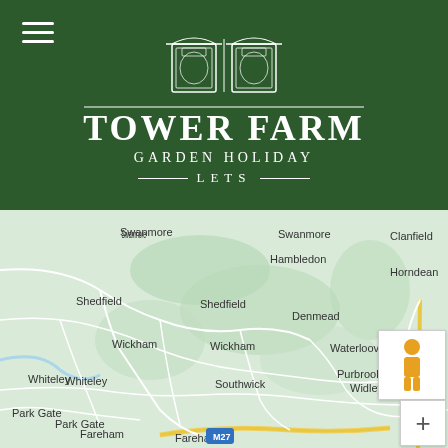[Figure (logo): Tower Farm Garden Holiday Lets logo — white gate illustration above white text on dark green background, with hamburger menu icon top-left]
[Figure (map): Google Maps screenshot showing area around Hampshire, UK including Swanmore, Hambledon, Clanfield, Shedfield, Horndean, Denmead, Wickham, Waterlooville, Whiteley, Southwick, Purbrook, Widley, Park Gate, Fareham, with M27 motorway and Street View pegman control visible]